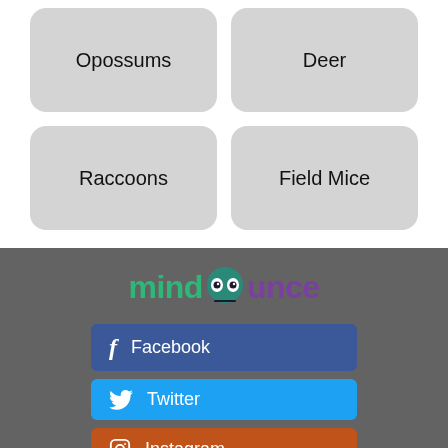Opossums
Deer
Raccoons
Field Mice
[Figure (logo): MindBounce logo with stylized owl eyes in the letter 'b', green 'mind' text and purple 'bounce' text]
Facebook
Twitter
Instagram